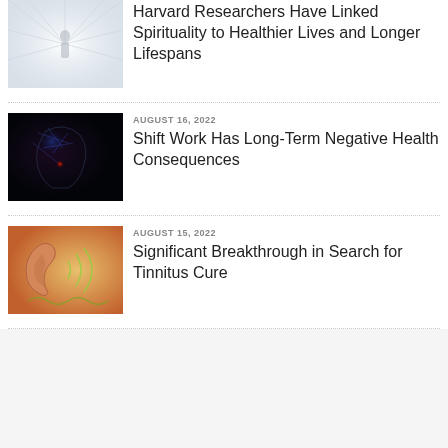[Figure (photo): Person walking toward bright light (spirituality image)]
Harvard Researchers Have Linked Spirituality to Healthier Lives and Longer Lifespans
[Figure (photo): Illuminated brain/head with neural network visualization]
AUGUST 16, 2022
Shift Work Has Long-Term Negative Health Consequences
[Figure (photo): Close-up of human ear with sound wave visualization]
AUGUST 15, 2022
Significant Breakthrough in Search for Tinnitus Cure